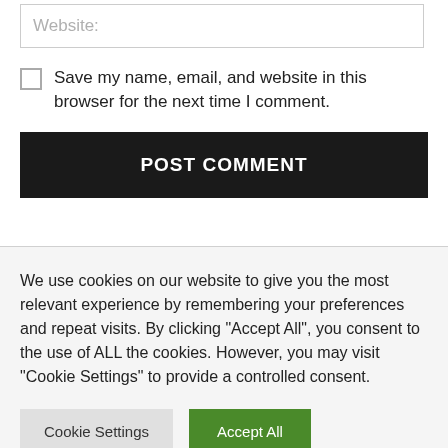Website:
Save my name, email, and website in this browser for the next time I comment.
POST COMMENT
We use cookies on our website to give you the most relevant experience by remembering your preferences and repeat visits. By clicking "Accept All", you consent to the use of ALL the cookies. However, you may visit "Cookie Settings" to provide a controlled consent.
Cookie Settings
Accept All